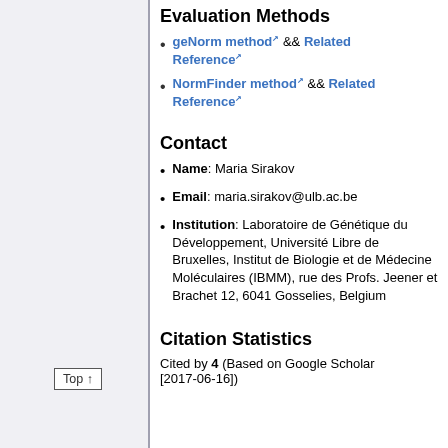Evaluation Methods
geNorm method && Related Reference
NormFinder method && Related Reference
Contact
Name: Maria Sirakov
Email: maria.sirakov@ulb.ac.be
Institution: Laboratoire de Génétique du Développement, Université Libre de Bruxelles, Institut de Biologie et de Médecine Moléculaires (IBMM), rue des Profs. Jeener et Brachet 12, 6041 Gosselies, Belgium
Citation Statistics
Cited by 4 (Based on Google Scholar [2017-06-16])